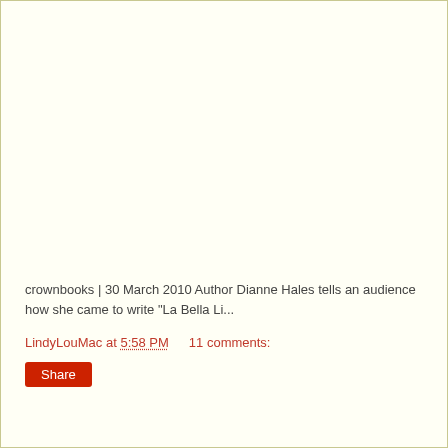crownbooks | 30 March 2010 Author Dianne Hales tells an audience how she came to write "La Bella Li...
LindyLouMac at 5:58 PM    11 comments:
Share